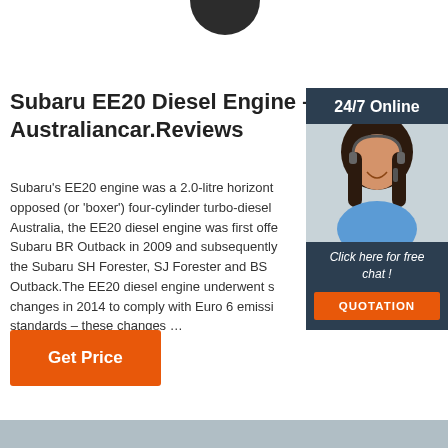[Figure (illustration): Partial dark circular image at top center, likely a logo or wheel]
Subaru EE20 Diesel Engine – Australiancar.Reviews
Subaru's EE20 engine was a 2.0-litre horizontally-opposed (or 'boxer') four-cylinder turbo-diesel engine. For Australia, the EE20 diesel engine was first offered in the Subaru BR Outback in 2009 and subsequently powered the Subaru SH Forester, SJ Forester and BS Outback.The EE20 diesel engine underwent substantial changes in 2014 to comply with Euro 6 emission standards – these changes …
[Figure (photo): Sidebar with 24/7 Online heading, photo of a smiling woman with headset, 'Click here for free chat!' text, and an orange QUOTATION button]
Get Price
[Figure (illustration): Light blue-grey bar at bottom of the page]